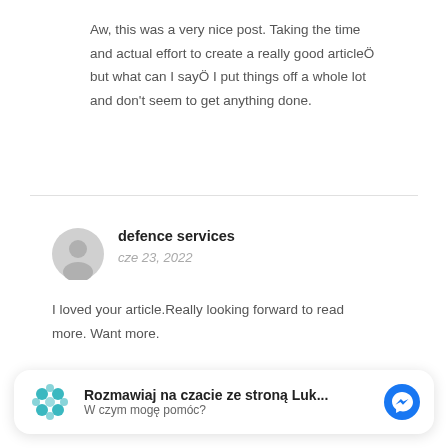Aw, this was a very nice post. Taking the time and actual effort to create a really good articleÖ but what can I sayÖ I put things off a whole lot and don't seem to get anything done.
defence services
cze 23, 2022
I loved your article.Really looking forward to read more. Want more.
Rozmawiaj na czacie ze stroną Luk...
W czym mogę pomóc?